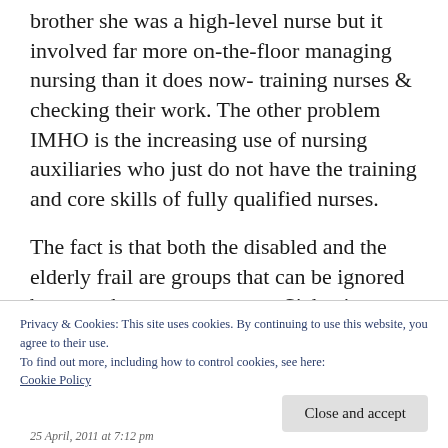brother she was a high-level nurse but it involved far more on-the-floor managing nursing than it does now- training nurses & checking their work. The other problem IMHO is the increasing use of nursing auxiliaries who just do not have the training and core skills of fully qualified nurses.
The fact is that both the disabled and the elderly frail are groups that can be ignored because they cannot protest. Sickening. Hugs
Privacy & Cookies: This site uses cookies. By continuing to use this website, you agree to their use.
To find out more, including how to control cookies, see here:
Cookie Policy
25 April, 2011 at 7:12 pm